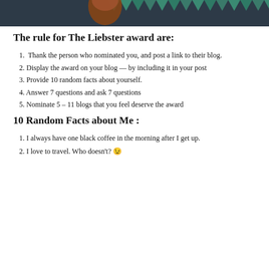[Figure (illustration): Header image with dark teal/navy background showing a partial illustration of a person and decorative bunting/pennant flags in teal.]
The rule for The Liebster award are:
1. Thank the person who nominated you, and post a link to their blog.
2. Display the award on your blog — by including it in your post
3. Provide 10 random facts about yourself.
4. Answer 7 questions and ask 7 questions
5. Nominate 5 – 11 blogs that you feel deserve the award
10 Random Facts about Me :
1. I always have one black coffee in the morning after I get up.
2. I love to travel. Who doesn't? 😉